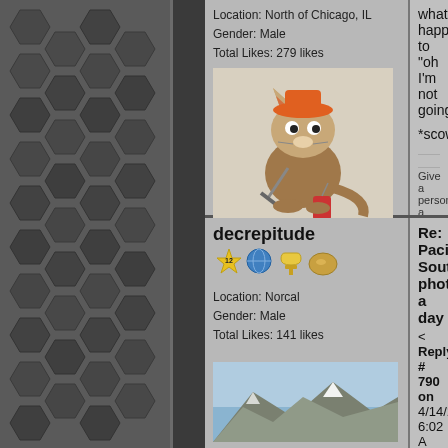for more information.
Location: North of Chicago, IL
Gender: Male
Total Likes: 279 likes
what happened to "oh I'm not going...
*scowls*
[Figure (illustration): Cartoon fox/coyote character wearing an orange mining helmet, sitting and holding a pickaxe with dynamite nearby]
*Therrin puts on the penguin-suit
Give a person a match and they'll be warm for a min...
decrepitude
[Figure (other): User badges: star-12, globe, trophy, coin/egg]
Location: Norcal
Gender: Male
Total Likes: 141 likes
Re: Pacific Southwest photo a day...
< Reply # 790 on 4/14/2012 6:02 A...
Reply with Quote
Blast from the past.
[Figure (photo): Mountain landscape photo]
[Figure (photo): Red textured close-up photo]